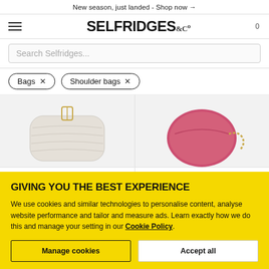New season, just landed - Shop now →
[Figure (logo): Selfridges & Co logo with hamburger menu and cart icon]
Search Selfridges...
Bags ×   Shoulder bags ×
[Figure (photo): White quilted shoulder bag with gold clasp on light grey background]
[Figure (photo): Pink round shoulder bag with gold chain on light grey background]
GIVING YOU THE BEST EXPERIENCE
We use cookies and similar technologies to personalise content, analyse website performance and tailor and measure ads. Learn exactly how we do this and manage your setting in our Cookie Policy.
Manage cookies
Accept all